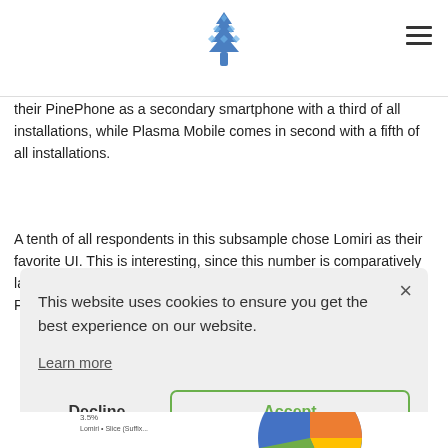[Pine64 / PinePhone logo and hamburger menu]
their PinePhone as a secondary smartphone with a third of all installations, while Plasma Mobile comes in second with a fifth of all installations.
A tenth of all respondents in this subsample chose Lomiri as their favorite UI. This is interesting, since this number is comparatively large when contrasted with Ubuntu Touch's popularity on the PinePhone. I suspect that this indicates people like the Lomiri UI
This website uses cookies to ensure you get the best experience on our website.
Learn more
Decline
Accept
[Figure (pie-chart): Partially visible pie chart at the bottom of the page with colored slices and a legend showing percentage labels]